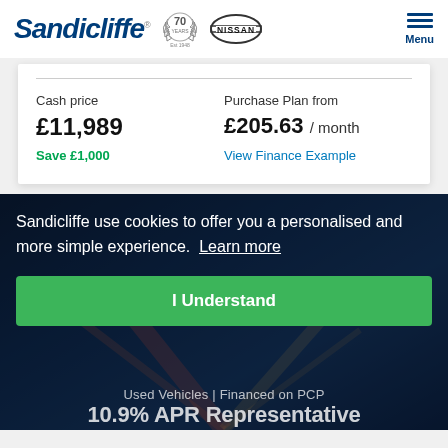[Figure (logo): Sandicliffe dealership logo with 70 Years Est 1948 badge and Nissan logo, plus hamburger menu icon with Menu label]
Cash price
£11,989
Save £1,000
Purchase Plan from
£205.63 / month
View Finance Example
Sandicliffe use cookies to offer you a personalised and more simple experience.  Learn more
I Understand
Used Vehicles | Financed on PCP
10.9% APR Representative